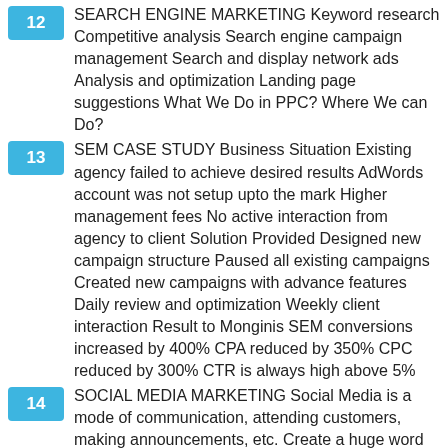12 SEARCH ENGINE MARKETING Keyword research Competitive analysis Search engine campaign management Search and display network ads Analysis and optimization Landing page suggestions What We Do in PPC? Where We can Do?
13 SEM CASE STUDY Business Situation Existing agency failed to achieve desired results AdWords account was not setup upto the mark Higher management fees No active interaction from agency to client Solution Provided Designed new campaign structure Paused all existing campaigns Created new campaigns with advance features Daily review and optimization Weekly client interaction Result to Monginis SEM conversions increased by 400% CPA reduced by 350% CPC reduced by 300% CTR is always high above 5%
14 SOCIAL MEDIA MARKETING Social Media is a mode of communication, attending customers, making announcements, etc. Create a huge word of mouth Increased visibility and targeted traffic Content promotion and ability to go viral Online brand development Create relationship with customers Supports other marketing campaigns Advantage of Social Media
15 SOCIAL MEDIA MARKETING Social media